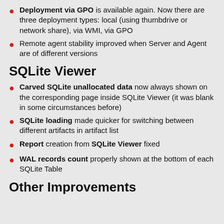Deployment via GPO is available again. Now there are three deployment types: local (using thumbdrive or network share), via WMI, via GPO
Remote agent stability improved when Server and Agent are of different versions
SQLite Viewer
Carved SQLite unallocated data now always shown on the corresponding page inside SQLite Viewer (it was blank in some circumstances before)
SQLite loading made quicker for switching between different artifacts in artifact list
Report creation from SQLite Viewer fixed
WAL records count properly shown at the bottom of each SQLite Table
Other Improvements